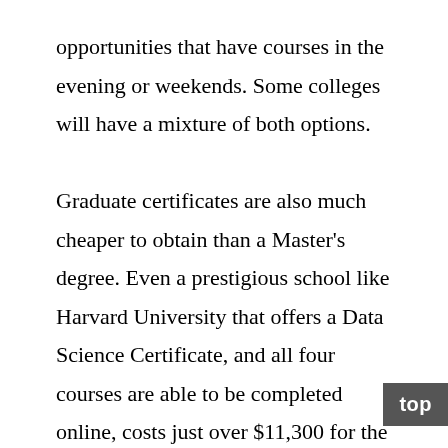opportunities that have courses in the evening or weekends. Some colleges will have a mixture of both options.

Graduate certificates are also much cheaper to obtain than a Master's degree. Even a prestigious school like Harvard University that offers a Data Science Certificate, and all four courses are able to be completed online, costs just over $11,300 for the full program. Staying in the Ivy League, a Master of Science in Data Science at Columbia University would cost approximately $46,000 on an annual basis. Even cheaper options, such as Colorado State University's in-state tuition in one year, hovers at the rate of